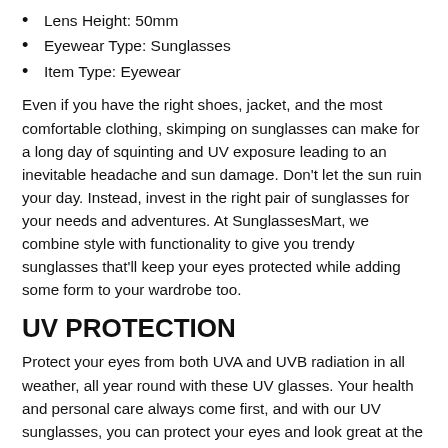Lens Height: 50mm
Eyewear Type: Sunglasses
Item Type: Eyewear
Even if you have the right shoes, jacket, and the most comfortable clothing, skimping on sunglasses can make for a long day of squinting and UV exposure leading to an inevitable headache and sun damage. Don't let the sun ruin your day. Instead, invest in the right pair of sunglasses for your needs and adventures. At SunglassesMart, we combine style with functionality to give you trendy sunglasses that'll keep your eyes protected while adding some form to your wardrobe too.
UV PROTECTION
Protect your eyes from both UVA and UVB radiation in all weather, all year round with these UV glasses. Your health and personal care always come first, and with our UV sunglasses, you can protect your eyes and look great at the same time.
STYLISH & COMFORTABLE